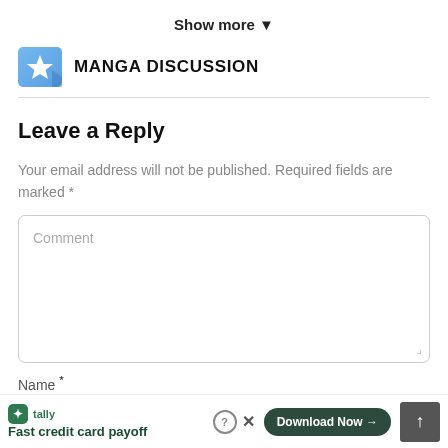Show more ▼
MANGA DISCUSSION
Leave a Reply
Your email address will not be published. Required fields are marked *
Comment
Name *
Tally Fast credit card payoff Download Now →